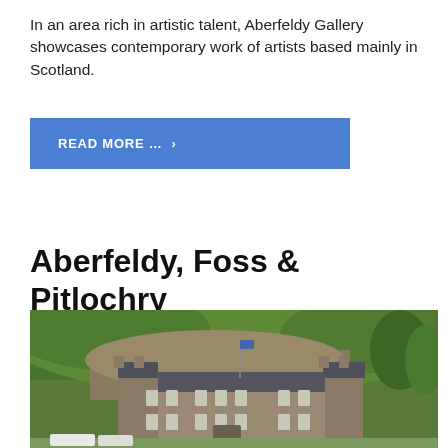In an area rich in artistic talent, Aberfeldy Gallery showcases contemporary work of artists based mainly in Scotland.
READ MORE ... ›
Aberfeldy, Foss & Pitlochry
[Figure (photo): Photograph of a large Scottish castle with grey slate roof and stone walls, set against a wooded hillside with green trees. A flagpole with a flag is visible. White caravans/vehicles are parked in front.]